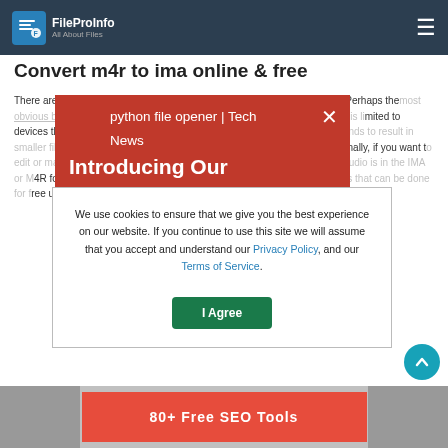FileProInfo — All About Files | M4R to IMA Converter navigation bar
M4R to IMA Converter
Convert m4r to ima online & free
There are many reasons why you might want to convert a M4R file to IMA. Perhaps the most obvious benefit is that a IMA can be read on any device, whereas a M4R file is limited to devices that support the format. Additionally, converting a M4R to IMA also tends to result in smaller file sizes. IMA files tend to be more compressed than M4Rs. Additionally, if you want to edit or manipulate the audio file, it can be much easier to do this when the audio is in the IMA or M4R format. Finally, converting a M4R to IMA is a quick and easy process that can be done for free using this free online tool.
python file opener | Tech News — Introducing Our
We use cookies to ensure that we give you the best experience on our website. If you continue to use this site we will assume that you accept and understand our Privacy Policy, and our Terms of Service.
I Agree
[Figure (screenshot): Bottom strip showing partial '80+ Free SEO Tools' text on red background with gray image area]
[Figure (other): Circular teal scroll-to-top button with upward arrow]